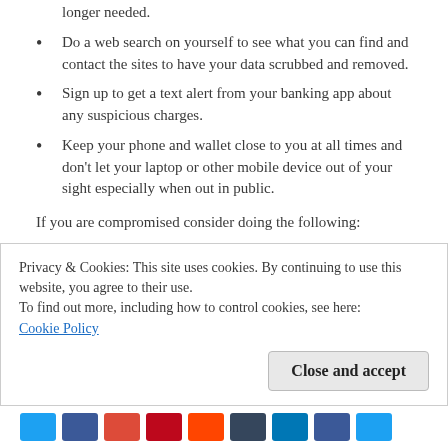longer needed.
Do a web search on yourself to see what you can find and contact the sites to have your data scrubbed and removed.
Sign up to get a text alert from your banking app about any suspicious charges.
Keep your phone and wallet close to you at all times and don't let your laptop or other mobile device out of your sight especially when out in public.
If you are compromised consider doing the following:
Contact the 3 major credit bureaus such as Equifax, Experian and Transunion
Contact the Federal Trade Commission to report
Privacy & Cookies: This site uses cookies. By continuing to use this website, you agree to their use.
To find out more, including how to control cookies, see here:
Cookie Policy
[Figure (other): Social media sharing icons bar at the bottom of the page]